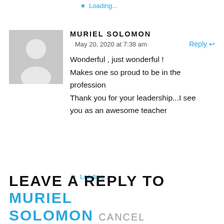★ Loading...
MURIEL SOLOMON
May 20, 2020 at 7:38 am
Reply ↩
Wonderful , just wonderful ! Makes one so proud to be in the profession Thank you for your leadership...I see you as an awesome teacher
★ Loading...
LEAVE A REPLY TO MURIEL SOLOMON CANCEL